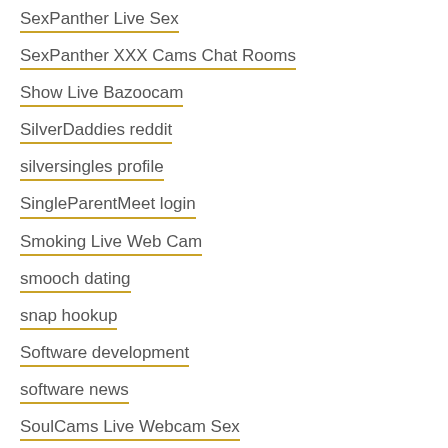SexPanther Live Sex
SexPanther XXX Cams Chat Rooms
Show Live Bazoocam
SilverDaddies reddit
silversingles profile
SingleParentMeet login
Smoking Live Web Cam
smooch dating
snap hookup
Software development
software news
SoulCams Live Webcam Sex
SoulCams Web Cams live